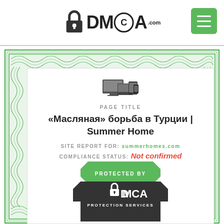DMCA.com
[Figure (logo): DMCA.com logo with padlock icon and text DMCA with .com superscript]
[Figure (illustration): Green rounded square hamburger menu button with three white horizontal lines]
[Figure (illustration): DMCA certificate with green guilloche border pattern]
[Figure (illustration): Device icons showing desktop monitor, laptop, tablet and phone in dark gray]
PAGE TITLE
«Масляная» борьба в Турции | Summer Home
SITE REPORT FOR: summerhomes.com
COMPLIANCE STATUS: Not confirmed
[Figure (logo): DMCA Protected By shield badge in dark gray and green with padlock icon and text PROTECTED BY DMCA PROTECTION SERVICES]